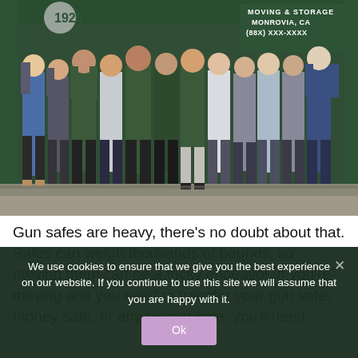[Figure (photo): Group photo of approximately 13 people (moving company employees) standing in front of a large dark green moving truck. The truck displays 'MOVING & STORAGE MONROVIA, CA (88X) XXX-XXXX' text. People are wearing blue polo shirts, green hoodies, and casual clothing.]
Gun safes are heavy, there's no doubt about that. Safes can weigh thousands of pounds, so moving them can be a tricky endeavor. If you're moving and you need to transfer your gun safe, money safe, or any type of safe, you'll need
We use cookies to ensure that we give you the best experience on our website. If you continue to use this site we will assume that you are happy with it.